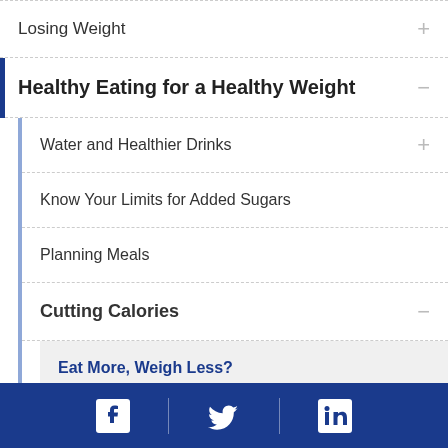Losing Weight
Healthy Eating for a Healthy Weight
Water and Healthier Drinks
Know Your Limits for Added Sugars
Planning Meals
Cutting Calories
Eat More, Weigh Less?
Portion Pitfalls
Facebook | Twitter | LinkedIn